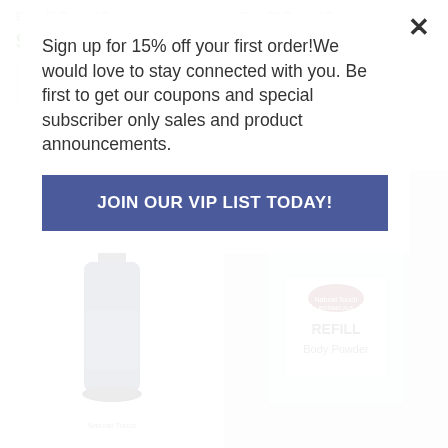Sign up for 15% off your first order!We would love to stay connected with you. Be first to get our coupons and special subscriber only sales and product announcements.
JOIN OUR VIP LIST TODAY!
Earn 40 Reward Points
Earn 32 Reward Points
$22.95
$15.95
ADD TO CART
ADD TO CART
[Figure (photo): Blue dropper bottle product photo]
[Figure (photo): Body powder refill bag with Natural Touch Botanicals label reading REFILL Body Powder]